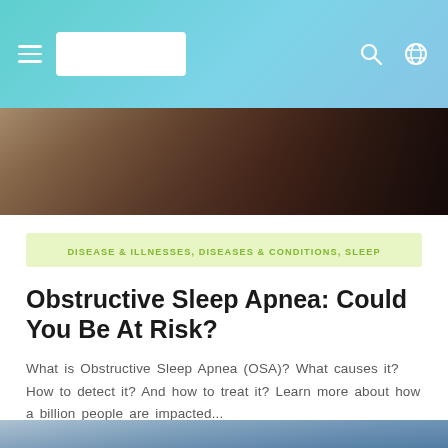Navigation bar with hamburger menu, logo, search and globe icons
[Figure (photo): Close-up photo of a person sleeping or resting, dark toned background]
DISEASE & ILLNESSES, DISEASES & CONDITIONS, SLEEP
Obstructive Sleep Apnea: Could You Be At Risk?
What is Obstructive Sleep Apnea (OSA)? What causes it? How to detect it? And how to treat it? Learn more about how a billion people are impacted...
[Figure (photo): Photo of a smiling bearded man wearing yellow/green headphones outdoors]